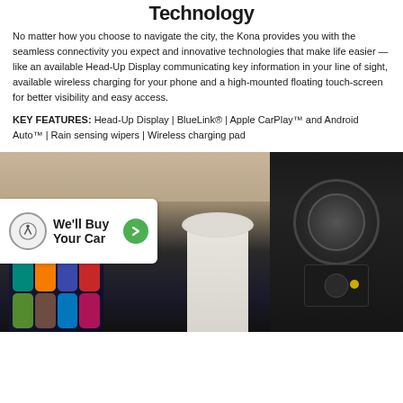Technology
No matter how you choose to navigate the city, the Kona provides you with the seamless connectivity you expect and innovative technologies that make life easier — like an available Head-Up Display communicating key information in your line of sight, available wireless charging for your phone and a high-mounted floating touch-screen for better visibility and easy access.
KEY FEATURES: Head-Up Display | BlueLink® | Apple CarPlay™ and Android Auto™ | Rain sensing wipers | Wireless charging pad
[Figure (photo): Two car interior photos side by side: left shows Apple CarPlay touchscreen and wireless charger; right shows charging port panel. An overlay badge reads 'We'll Buy Your Car' with a green arrow button.]